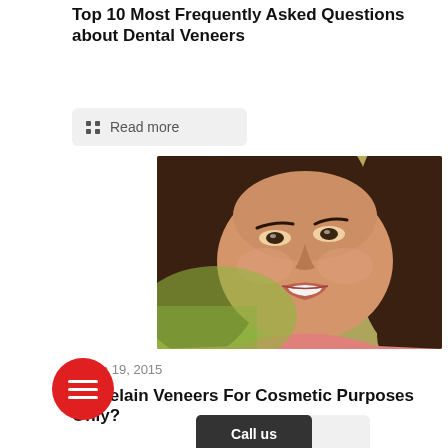Top 10 Most Frequently Asked Questions about Dental Veneers
Read more
[Figure (photo): Close-up photo of a smiling young woman with dark hair and bright white teeth, green background]
March 19, 2015
Porcelain Veneers For Cosmetic Purposes Only?
Call us
Read more